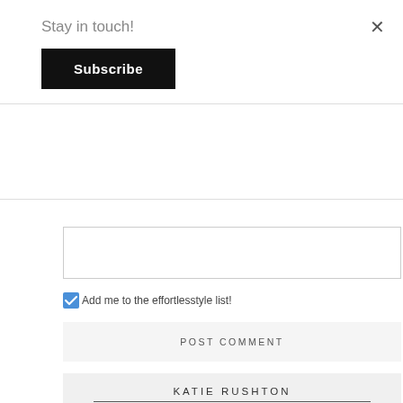Stay in touch!
Subscribe
Add me to the effortlesstyle list!
POST COMMENT
KATIE RUSHTON
[Figure (photo): Photo of Katie Rushton in a restaurant or cafe setting, blurred background with tables and large windows]